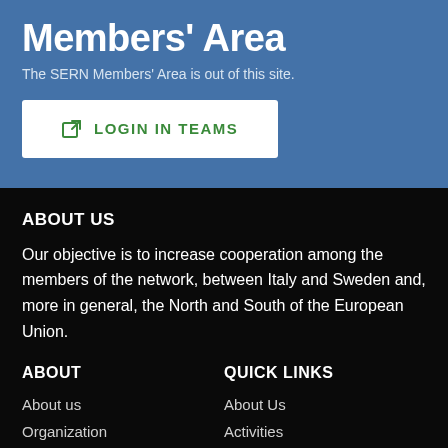Members' Area
The SERN Members' Area is out of this site.
LOGIN IN TEAMS
ABOUT US
Our objective is to increase cooperation among the members of the network, between Italy and Sweden and, more in general, the North and South of the European Union.
ABOUT
QUICK LINKS
About us
Organization
About Us
Activities